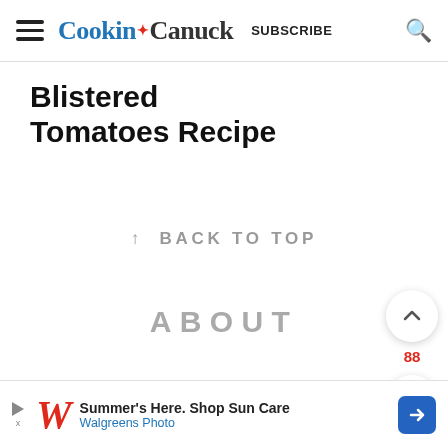Cookin' Canuck  SUBSCRIBE
Blistered Tomatoes Recipe
↑ BACK TO TOP
ABOUT
[Figure (other): Walgreens ad banner: Summer's Here. Shop Sun Care – Walgreens Photo]